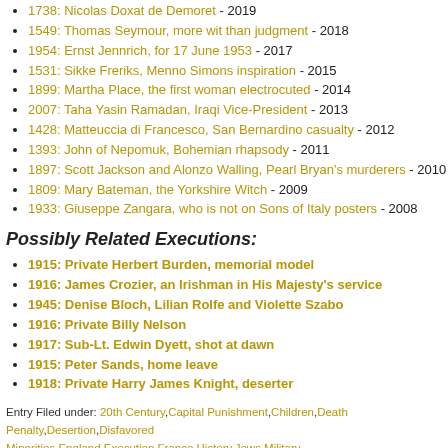1738: Nicolas Doxat de Demoret - 2019
1549: Thomas Seymour, more wit than judgment - 2018
1954: Ernst Jennrich, for 17 June 1953 - 2017
1531: Sikke Freriks, Menno Simons inspiration - 2015
1899: Martha Place, the first woman electrocuted - 2014
2007: Taha Yasin Ramadan, Iraqi Vice-President - 2013
1428: Matteuccia di Francesco, San Bernardino casualty - 2012
1393: John of Nepomuk, Bohemian rhapsody - 2011
1897: Scott Jackson and Alonzo Walling, Pearl Bryan's murderers - 2010
1809: Mary Bateman, the Yorkshire Witch - 2009
1933: Giuseppe Zangara, who is not on Sons of Italy posters - 2008
Possibly Related Executions:
1915: Private Herbert Burden, memorial model
1916: James Crozier, an Irishman in His Majesty's service
1945: Denise Bloch, Lilian Rolfe and Violette Szabo
1916: Private Billy Nelson
1917: Sub-Lt. Edwin Dyett, shot at dawn
1915: Peter Sands, home leave
1918: Private Harry James Knight, deserter
Entry Filed under: 20th Century,Capital Punishment,Children,Death Penalty,Desertion,Disfavored Minorities,England,Execution,France,History,Jews,Military Crimes,Shot,Soldiers,Wartime Executions
Tags: 1910s, 1916, abraham bevistein, march 20, shellshock, sylvia pankhurst, world w...
1531: Sikke Freriks, Menno Simons inspiration